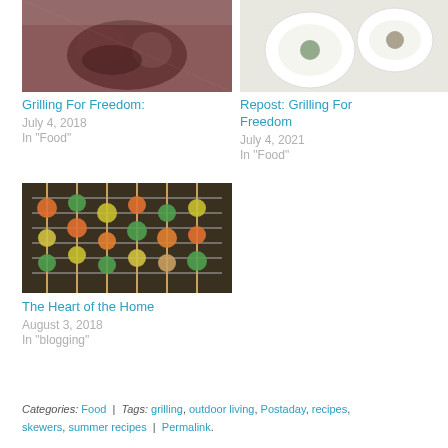[Figure (photo): Photo of grilled food on a plate, top-left card]
Grilling For Freedom:
July 4, 2018
In "Food"
[Figure (photo): Photo of dishes from above, top-right card]
Repost: Grilling For Freedom
July 4, 2021
In "Food"
[Figure (photo): Photo of vegetable skewers on a grill rack]
The Heart of the Home
August 3, 2018
In "blogging"
Categories: Food | Tags: grilling, outdoor living, Postaday, recipes, skewers, summer recipes | Permalink.